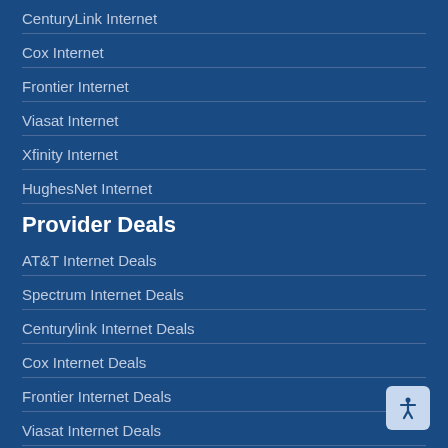CenturyLink Internet
Cox Internet
Frontier Internet
Viasat Internet
Xfinity Internet
HughesNet Internet
Provider Deals
AT&T Internet Deals
Spectrum Internet Deals
Centurylink Internet Deals
Cox Internet Deals
Frontier Internet Deals
Viasat Internet Deals
Xfinity Internet Deals